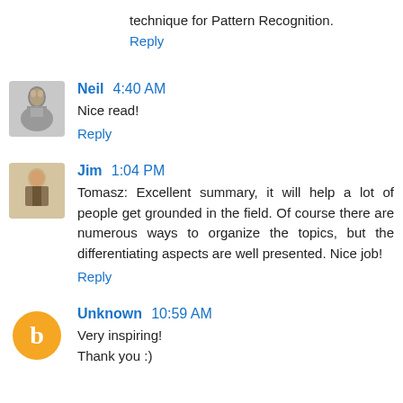technique for Pattern Recognition.
Reply
Neil 4:40 AM
Nice read!
Reply
Jim 1:04 PM
Tomasz: Excellent summary, it will help a lot of people get grounded in the field. Of course there are numerous ways to organize the topics, but the differentiating aspects are well presented. Nice job!
Reply
Unknown 10:59 AM
Very inspiring! Thank you :)